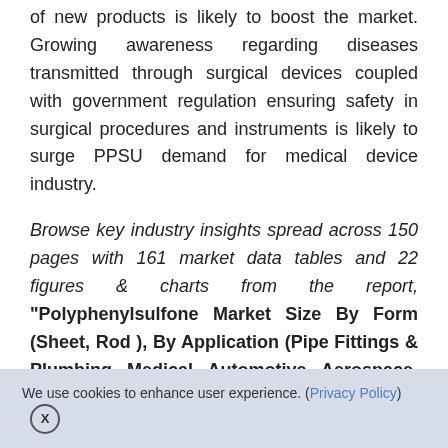of new products is likely to boost the market. Growing awareness regarding diseases transmitted through surgical devices coupled with government regulation ensuring safety in surgical procedures and instruments is likely to surge PPSU demand for medical device industry.
Browse key industry insights spread across 150 pages with 161 market data tables and 22 figures & charts from the report, "Polyphenylsulfone Market Size By Form (Sheet, Rod ), By Application (Pipe Fittings & Plumbing, Medical, Automotive, Aerospace, Baby
We use cookies to enhance user experience. (Privacy Policy) X